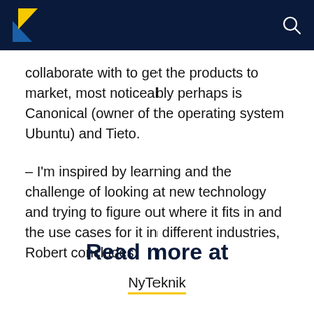Ny Teknik logo and search icon
collaborate with to get the products to market, most noticeably perhaps is Canonical (owner of the operating system Ubuntu) and Tieto.
– I'm inspired by learning and the challenge of looking at new technology and trying to figure out where it fits in and the use cases for it in different industries, Robert concludes.
Read more at
NyTeknik